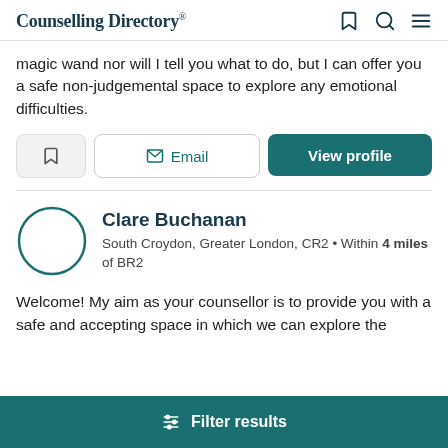Counselling Directory
magic wand nor will I tell you what to do, but I can offer you a safe non-judgemental space to explore any emotional difficulties.
Bookmark | Email | View profile
Clare Buchanan
South Croydon, Greater London, CR2 • Within 4 miles of BR2
Welcome! My aim as your counsellor is to provide you with a safe and accepting space in which we can explore the
Filter results